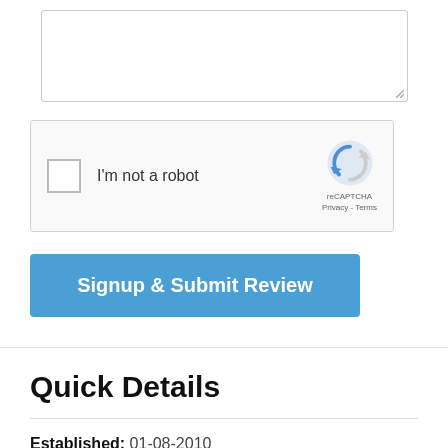[Figure (screenshot): Textarea input box with resize handle at bottom right]
[Figure (screenshot): reCAPTCHA widget with checkbox labeled 'I'm not a robot' and reCAPTCHA logo with Privacy and Terms links]
Signup & Submit Review
Quick Details
Established: 01-08-2010
Platform: In-House
Languages: English